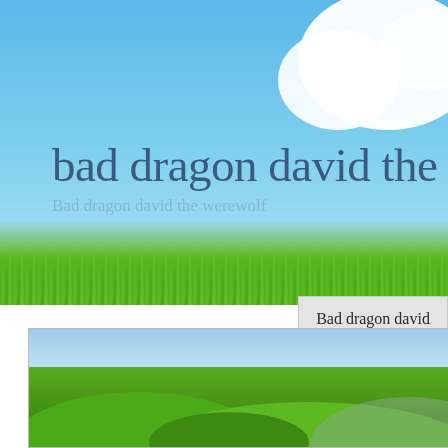[Figure (photo): Scenic banner image with blue sky, white clouds, and lush green grass at bottom. Large title text 'bad dragon david the we' (truncated) overlaid in blue-gray, with subtitle 'Bad dragon david the werewolf' below.]
bad dragon david the we
Bad dragon david the werewolf
Bad dragon david the werewolf
[Figure (photo): Landscape photo showing green rolling hills with sky at top, framed with a thin border.]